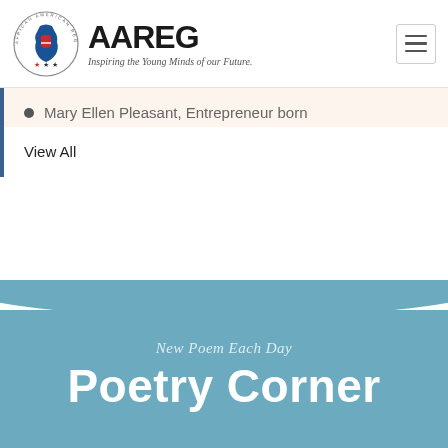[Figure (logo): AAREG (African American Registry) logo with circular emblem showing Africa map with US flag colors, three stars, and tagline 'Inspiring the Young Minds of our Future.']
Mary Ellen Pleasant, Entrepreneur born
View All
New Poem Each Day
Poetry Corner